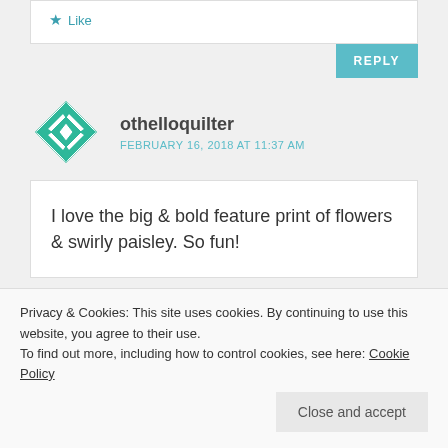Like
REPLY
othelloquilter
FEBRUARY 16, 2018 AT 11:37 AM
I love the big & bold feature print of flowers & swirly paisley. So fun!
Privacy & Cookies: This site uses cookies. By continuing to use this website, you agree to their use.
To find out more, including how to control cookies, see here: Cookie Policy
Close and accept